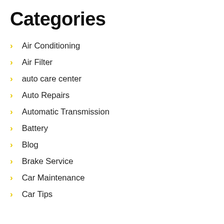Categories
Air Conditioning
Air Filter
auto care center
Auto Repairs
Automatic Transmission
Battery
Blog
Brake Service
Car Maintenance
Car Tips